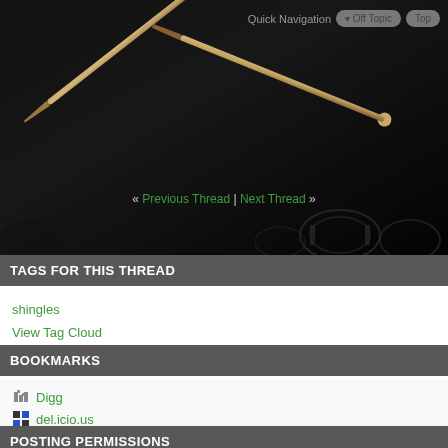[Figure (photo): Dark background with two wooden drum sticks crossed diagonally, drums visible in lower portion]
Quick Navigation   Off Topic   Top
« Previous Thread | Next Thread »
TAGS FOR THIS THREAD
shingles
View Tag Cloud
BOOKMARKS
Digg
del.icio.us
StumbleUpon
Google
POSTING PERMISSIONS